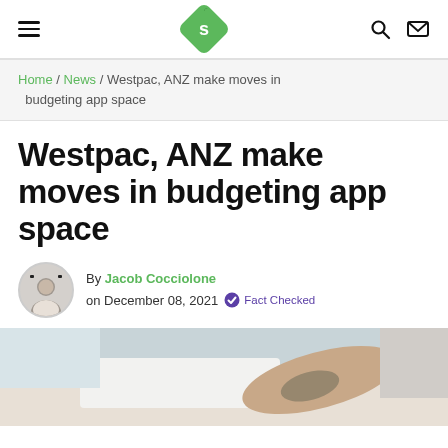Savvy logo navigation with hamburger menu, search, and mail icons
Home / News / Westpac, ANZ make moves in budgeting app space
Westpac, ANZ make moves in budgeting app space
By Jacob Cocciolone on December 08, 2021 Fact Checked
[Figure (photo): Person using a laptop or device at a desk, partial view showing arm with tattoo]